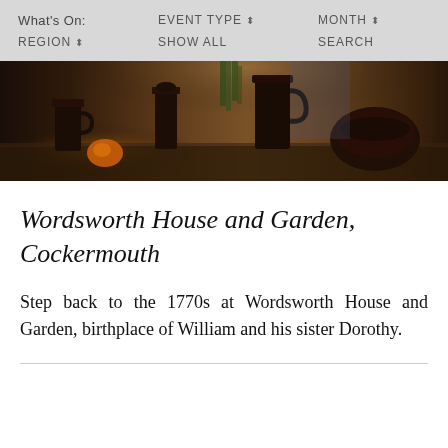What's On: EVENT TYPE ⬍ MONTH ⬍ REGION ⬍ SHOW ALL SEARCH
[Figure (photo): Photo of dark ceramic pottery jugs and bowls on a kitchen table, with an orange visible, in a historical kitchen setting]
Wordsworth House and Garden, Cockermouth
Step back to the 1770s at Wordsworth House and Garden, birthplace of William and his sister Dorothy.